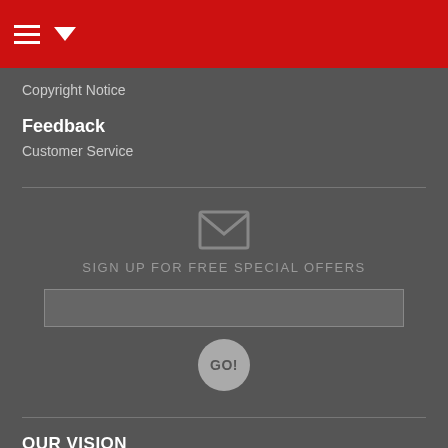Copyright Notice
Feedback
Customer Service
[Figure (other): Email signup section with envelope icon, 'SIGN UP FOR FREE SPECIAL OFFERS' label, email input box, and GO! button]
OUR VISION
To reach every person in America with a personal invitation to a Bible-believing church.
OUR MISSION